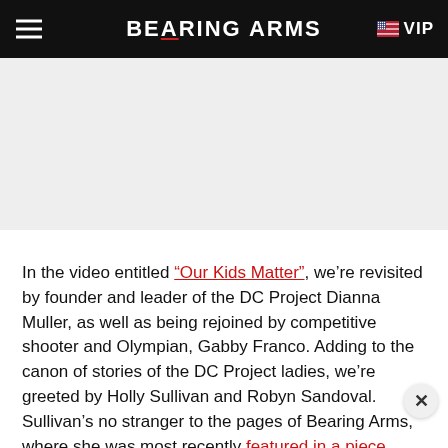BEARING ARMS  VIP
[Figure (other): Advertisement placeholder area (gray background)]
In the video entitled “Our Kids Matter”, we’re revisited by founder and leader of the DC Project Dianna Muller, as well as being rejoined by competitive shooter and Olympian, Gabby Franco. Adding to the canon of stories of the DC Project ladies, we’re greeted by Holly Sullivan and Robyn Sandoval. Sullivan’s no stranger to the pages of Bearing Arms, where she was most recently featured in a piece about her testimony in DC.